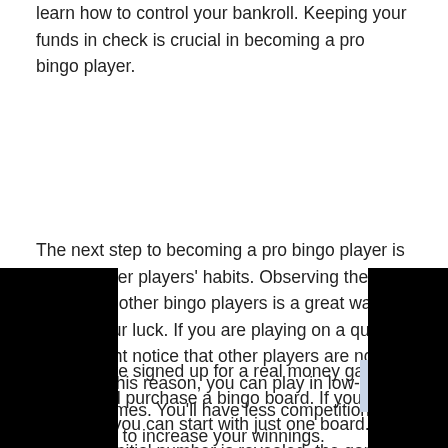learn how to control your bankroll. Keeping your funds in check is crucial in becoming a pro bingo player.
The next step to becoming a pro bingo player is study other players' habits. Observing the erns of other bingo players is a great way to ase your luck. If you are playing on a quiet ou might notice that other players are not . For this reason, you can play in low- and games. You'll have less competition and be able to increase your winnings.
After you've signed up for a real money game, you should purchase a bingo board. If you're a beginner, you can start with just one board. Once the initial number is revealed, the game will begin. While you're playing with bingo cards, you